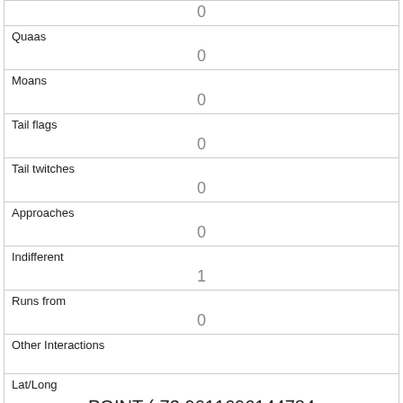|  | 0 |
| Quaas | 0 |
| Moans | 0 |
| Tail flags | 0 |
| Tail twitches | 0 |
| Approaches | 0 |
| Indifferent | 1 |
| Runs from | 0 |
| Other Interactions |  |
| Lat/Long | POINT (-73.9611696144784 40.7816692895155) |
| Link |  |